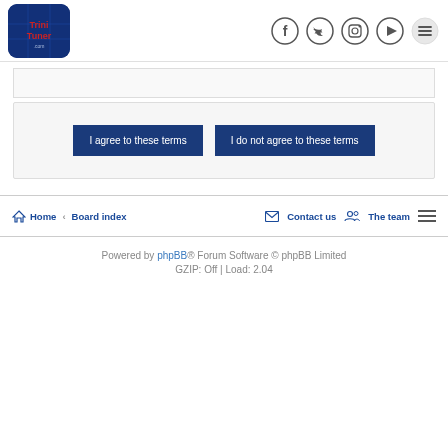TriniTuner.com logo and social icons (Facebook, Twitter, Instagram, Play, Menu)
I agree to these terms
I do not agree to these terms
Home · Board index | Contact us | The team | Menu
Powered by phpBB® Forum Software © phpBB Limited
GZIP: Off | Load: 2.04